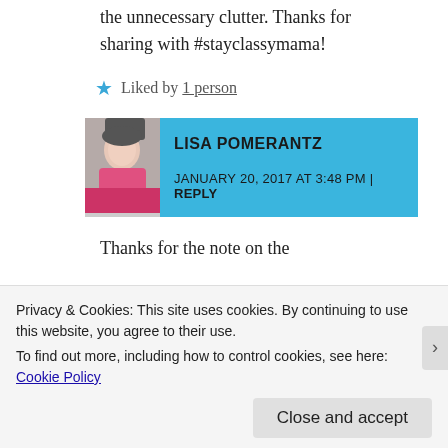the unnecessary clutter. Thanks for sharing with #stayclassymama!
★ Liked by 1 person
LISA POMERANTZ
JANUARY 20, 2017 AT 3:48 PM | REPLY
Thanks for the note on the documentary! I will look that up once those were once so schluffed. I love that!
Privacy & Cookies: This site uses cookies. By continuing to use this website, you agree to their use.
To find out more, including how to control cookies, see here: Cookie Policy